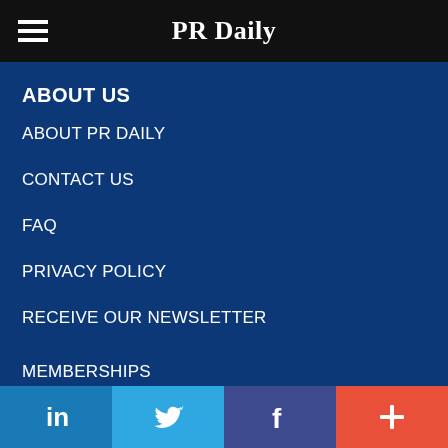PR Daily
ABOUT US
ABOUT PR DAILY
CONTACT US
FAQ
PRIVACY POLICY
RECEIVE OUR NEWSLETTER
SITE MAP
STORE
MEMBERSHIPS
in  (LinkedIn)  |  Twitter bird  |  f (Facebook)  |  + (More)